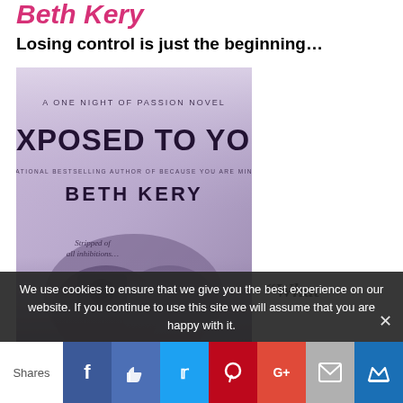Beth Kery
Losing control is just the beginning...
[Figure (photo): Book cover for 'Exposed to You' by Beth Kery, A One Night of Passion Novel, National Bestselling Author of Because You Are Mine. Text on cover: Stripped of all inhibitions... Purple-toned cover with figures.]
“What
We use cookies to ensure that we give you the best experience on our website. If you continue to use this site we will assume that you are happy with it.
Shares | Facebook | Like | Twitter | Pinterest | Google+ | Mail | Crown